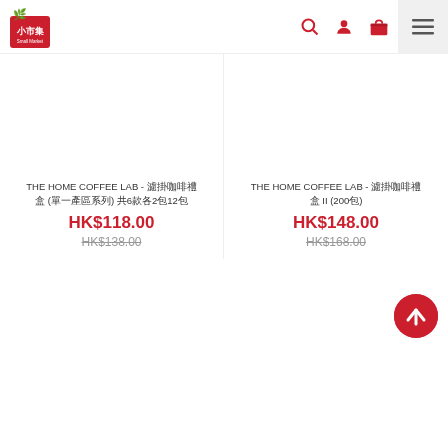Small Market 小市集 navigation header with logo, search, account, cart, and menu icons
THE HOME COFFEE LAB - 濾掛咖啡禮盒 (單一產區系列) 共6款各2包12包
HK$118.00
HK$138.00
THE HOME COFFEE LAB - 濾掛咖啡禮盒 II (200包)
HK$148.00
HK$168.00